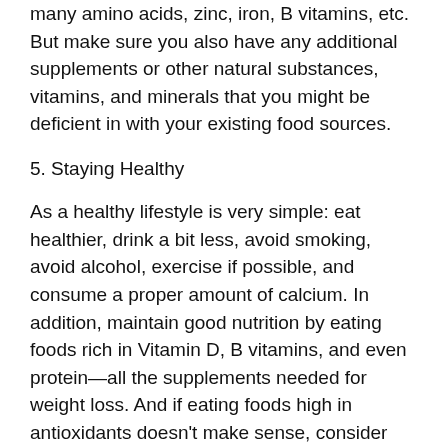many amino acids, zinc, iron, B vitamins, etc. But make sure you also have any additional supplements or other natural substances, vitamins, and minerals that you might be deficient in with your existing food sources.
5. Staying Healthy
As a healthy lifestyle is very simple: eat healthier, drink a bit less, avoid smoking, avoid alcohol, exercise if possible, and consume a proper amount of calcium. In addition, maintain good nutrition by eating foods rich in Vitamin D, B vitamins, and even protein—all the supplements needed for weight loss. And if eating foods high in antioxidants doesn't make sense, consider avoiding
Both the pfizer-biontech and moderna vaccines reported similar side effects, which don't last long — about one to three days